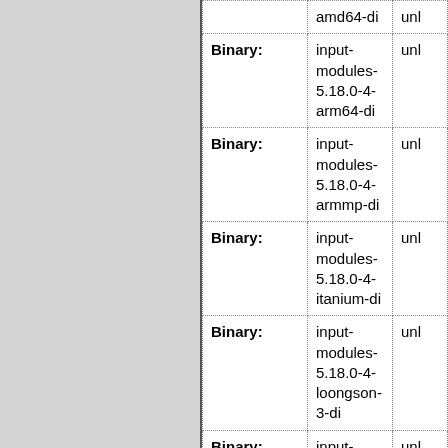| Type | Package | Status |
| --- | --- | --- |
|  | amd64-di | unr... |
| Binary: | input-modules-5.18.0-4-arm64-di | unl... |
| Binary: | input-modules-5.18.0-4-armmp-di | unl... |
| Binary: | input-modules-5.18.0-4-itanium-di | unl... |
| Binary: | input-modules-5.18.0-4-loongson-3-di | unl... |
| Binary: | input-modules-5.18.0-4-marvell-di | unl... |
| Binary: | input-... | unl... |